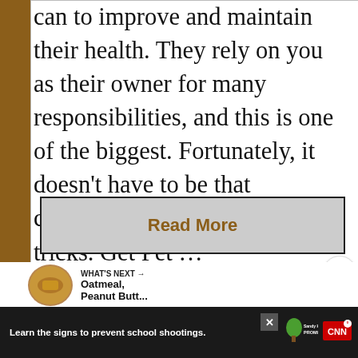...can to improve and maintain their health. They rely on you as their owner for many responsibilities, and this is one of the biggest. Fortunately, it doesn't have to be that complicated if you know a few tricks. Get Pet ...
Read More
[Figure (photo): Share icon button (circle with share symbol)]
[Figure (photo): What's Next panel showing thumbnail of oatmeal/peanut butter item with text 'WHAT'S NEXT → Oatmeal, Peanut Butt...']
[Figure (photo): Nature outdoor scene with trees and green landscape]
Learn the signs to prevent school shootings.
[Figure (logo): Sandy Hook Promise logo - green tree with text 'Sandy Hook PROMISE']
[Figure (logo): CNN logo in white]